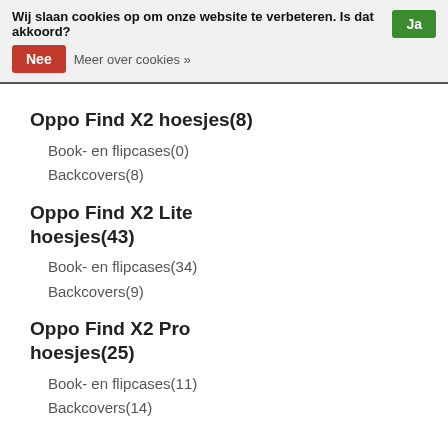Wij slaan cookies op om onze website te verbeteren. Is dat akkoord? Ja
Nee  Meer over cookies »
Oppo Find X2 hoesjes(8)
Book- en flipcases(0)
Backcovers(8)
Oppo Find X2 Lite hoesjes(43)
Book- en flipcases(34)
Backcovers(9)
Oppo Find X2 Pro hoesjes(25)
Book- en flipcases(11)
Backcovers(14)